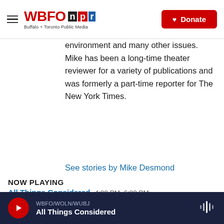WBFO npr — Buffalo + Toronto Public Media — Donate
environment and many other issues. Mike has been a long-time theater reviewer for a variety of publications and was formerly a part-time reporter for The New York Times.
See stories by Mike Desmond
NOW PLAYING
All Things Considered 4:00 PM–6:00 PM
Up Next: The Daily
WBFO/WOLN/WUBJ — All Things Considered